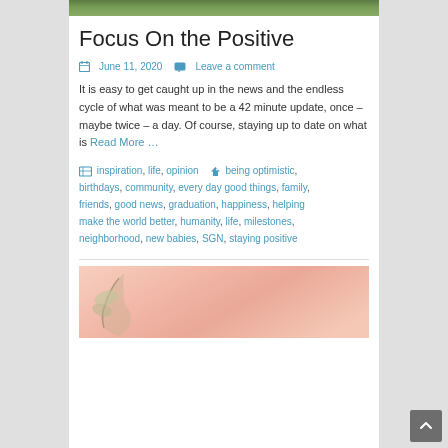[Figure (photo): Top partial photo showing green outdoor scene]
Focus On the Positive
June 11, 2020   Leave a comment
It is easy to get caught up in the news and the endless cycle of what was meant to be a 42 minute update, once – maybe twice – a day. Of course, staying up to date on what is Read More …
inspiration, life, opinion   being optimistic, birthdays, community, every day good things, family, friends, good news, graduation, happiness, helping make the world better, humanity, life, milestones, neighborhood, new babies, SGN, staying positive
[Figure (photo): Bottom partial photo with pink background and floral/plant elements]